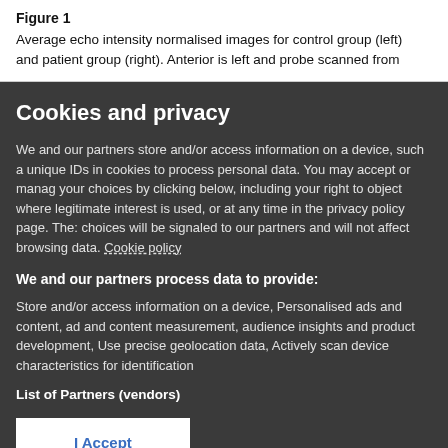Figure 1
Average echo intensity normalised images for control group (left) and patient group (right). Anterior is left and probe scanned from
Cookies and privacy
We and our partners store and/or access information on a device, such a unique IDs in cookies to process personal data. You may accept or manage your choices by clicking below, including your right to object where legitimate interest is used, or at any time in the privacy policy page. These choices will be signaled to our partners and will not affect browsing data. Cookie policy
We and our partners process data to provide:
Store and/or access information on a device, Personalised ads and content, ad and content measurement, audience insights and product development, Use precise geolocation data, Actively scan device characteristics for identification
List of Partners (vendors)
I Accept